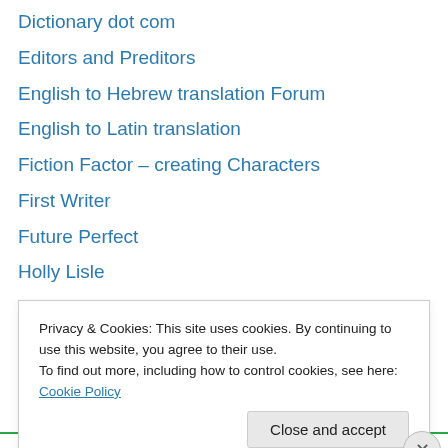Dictionary dot com
Editors and Preditors
English to Hebrew translation Forum
English to Latin translation
Fiction Factor – creating Characters
First Writer
Future Perfect
Holly Lisle
Internet Polyglot
John Jarrold
Log me in
Mister Edit
On Line Thesaurus
On Line Translator
Privacy & Cookies: This site uses cookies. By continuing to use this website, you agree to their use. To find out more, including how to control cookies, see here: Cookie Policy
Close and accept